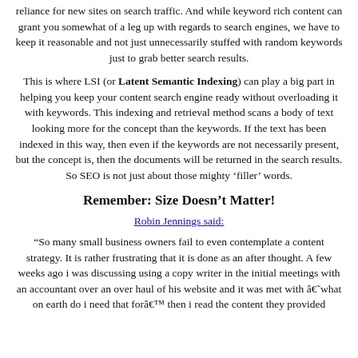reliance for new sites on search traffic. And while keyword rich content can grant you somewhat of a leg up with regards to search engines, we have to keep it reasonable and not just unnecessarily stuffed with random keywords just to grab better search results.
This is where LSI (or Latent Semantic Indexing) can play a big part in helping you keep your content search engine ready without overloading it with keywords. This indexing and retrieval method scans a body of text looking more for the concept than the keywords. If the text has been indexed in this way, then even if the keywords are not necessarily present, but the concept is, then the documents will be returned in the search results. So SEO is not just about those mighty ‘filler’ words.
Remember: Size Doesn’t Matter!
Robin Jennings said:
“So many small business owners fail to even contemplate a content strategy. It is rather frustrating that it is done as an after thought. A few weeks ago i was discussing using a copy writer in the initial meetings with an accountant over an over haul of his website and it was met with â€˜what on earth do i need that forâ€™ then i read the content they provided